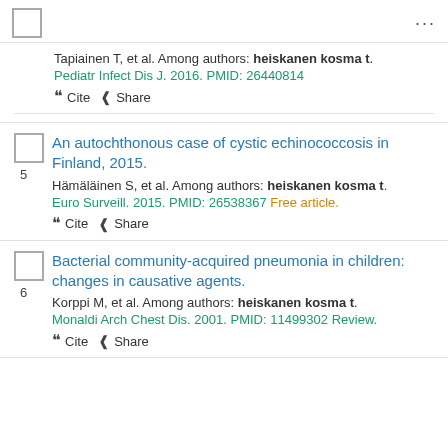[checkbox] ...
Tapiainen T, et al. Among authors: heiskanen kosma t. Pediatr Infect Dis J. 2016. PMID: 26440814
" Cite  < Share
An autochthonous case of cystic echinococcosis in Finland, 2015.
Hämäläinen S, et al. Among authors: heiskanen kosma t. Euro Surveill. 2015. PMID: 26538367 Free article.
" Cite  < Share
Bacterial community-acquired pneumonia in children: changes in causative agents.
Korppi M, et al. Among authors: heiskanen kosma t. Monaldi Arch Chest Dis. 2001. PMID: 11499302 Review.
" Cite  < Share